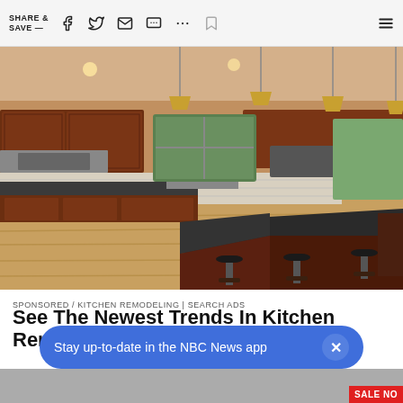SHARE & SAVE —
[Figure (photo): Interior photo of a modern kitchen remodel featuring dark granite countertops on a large island with bar stools, cherry wood cabinets, pendant lights, stainless steel appliances, and light hardwood floors.]
SPONSORED / KITCHEN REMODELING | SEARCH ADS
See The Newest Trends In Kitchen Remodeling
Stay up-to-date in the NBC News app